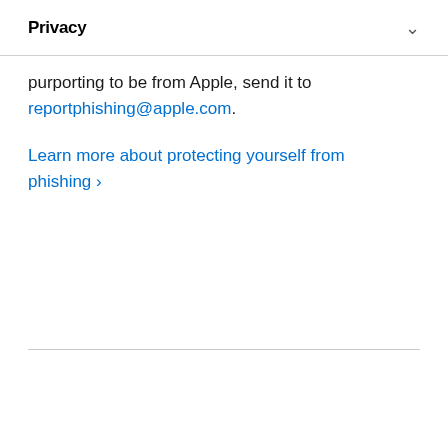Privacy
information over email or text messages. If you receive what you believe to be a phishing email purporting to be from Apple, send it to reportphishing@apple.com.
Learn more about protecting yourself from phishing ›